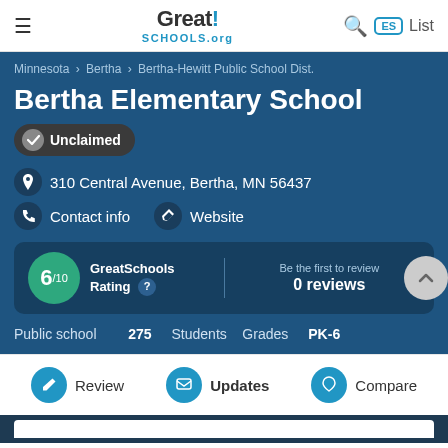GreatSchools.org
Minnesota › Bertha › Bertha-Hewitt Public School Dist.
Bertha Elementary School
✓ Unclaimed
310 Central Avenue, Bertha, MN 56437
Contact info   Website
GreatSchools Rating ? | Be the first to review 0 reviews
Public school   275 Students   Grades PK-6
Review   Updates   Compare